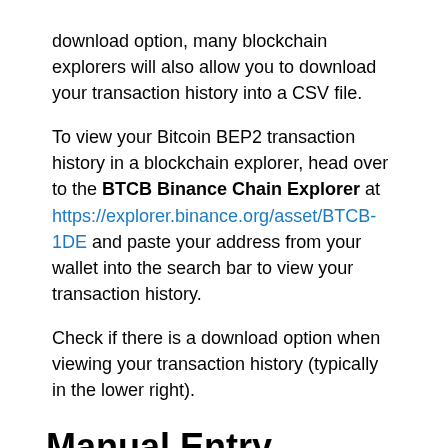download option, many blockchain explorers will also allow you to download your transaction history into a CSV file.
To view your Bitcoin BEP2 transaction history in a blockchain explorer, head over to the BTCB Binance Chain Explorer at https://explorer.binance.org/asset/BTCB-1DE and paste your address from your wallet into the search bar to view your transaction history.
Check if there is a download option when viewing your transaction history (typically in the lower right).
Manual Entry
If a download option is not offered by your wallet or any blockchain explorers, you can always import your